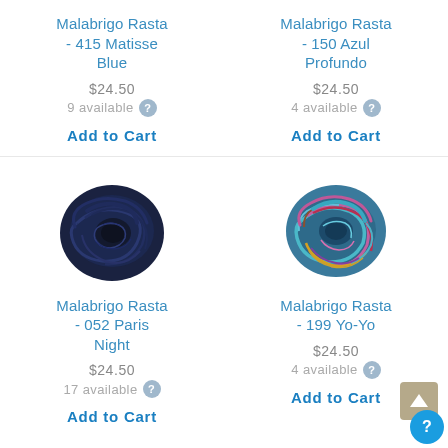Malabrigo Rasta - 415 Matisse Blue
$24.50
9 available
Add to Cart
Malabrigo Rasta - 150 Azul Profundo
$24.50
4 available
Add to Cart
[Figure (photo): Skein of dark navy blue yarn - Malabrigo Rasta 052 Paris Night]
Malabrigo Rasta - 052 Paris Night
$24.50
17 available
Add to Cart
[Figure (photo): Skein of multicolored blue/pink/gold yarn - Malabrigo Rasta 199 Yo-Yo]
Malabrigo Rasta - 199 Yo-Yo
$24.50
4 available
Add to Cart